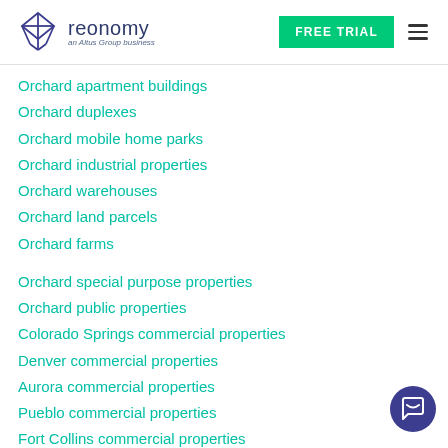[Figure (logo): Reonomy logo - geometric diamond shape with 'reonomy' text and 'an Altus Group business' subtitle]
Orchard apartment buildings
Orchard duplexes
Orchard mobile home parks
Orchard industrial properties
Orchard warehouses
Orchard land parcels
Orchard farms
Orchard special purpose properties
Orchard public properties
Colorado Springs commercial properties
Denver commercial properties
Aurora commercial properties
Pueblo commercial properties
Fort Collins commercial properties